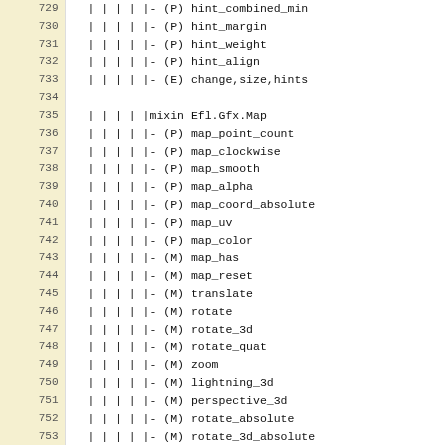| line | code |
| --- | --- |
| 729 |   | | | | |- (P) hint_combined_min |
| 730 |   | | | | |- (P) hint_margin |
| 731 |   | | | | |- (P) hint_weight |
| 732 |   | | | | |- (P) hint_align |
| 733 |   | | | | |- (E) change,size,hints |
| 734 |  |
| 735 |   | | | | |mixin Efl.Gfx.Map |
| 736 |   | | | | |- (P) map_point_count |
| 737 |   | | | | |- (P) map_clockwise |
| 738 |   | | | | |- (P) map_smooth |
| 739 |   | | | | |- (P) map_alpha |
| 740 |   | | | | |- (P) map_coord_absolute |
| 741 |   | | | | |- (P) map_uv |
| 742 |   | | | | |- (P) map_color |
| 743 |   | | | | |- (M) map_has |
| 744 |   | | | | |- (M) map_reset |
| 745 |   | | | | |- (M) translate |
| 746 |   | | | | |- (M) rotate |
| 747 |   | | | | |- (M) rotate_3d |
| 748 |   | | | | |- (M) rotate_quat |
| 749 |   | | | | |- (M) zoom |
| 750 |   | | | | |- (M) lightning_3d |
| 751 |   | | | | |- (M) perspective_3d |
| 752 |   | | | | |- (M) rotate_absolute |
| 753 |   | | | | |- (M) rotate_3d_absolute |